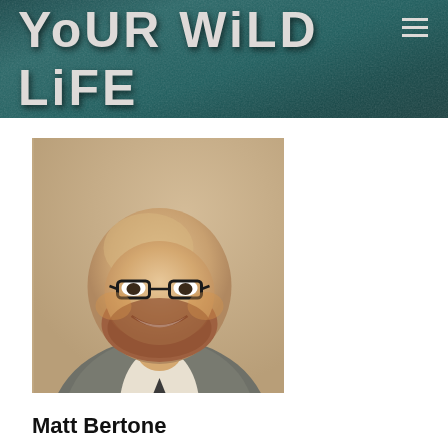Your Wild Life
[Figure (photo): Portrait photo of Matt Bertone, a bald man with red beard wearing glasses and a grey suit with tie, smiling]
Matt Bertone
Project: Arthropods of Our Homes